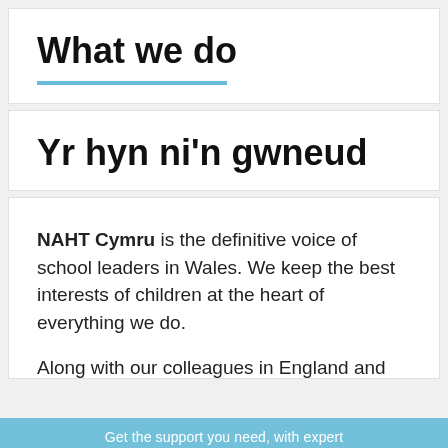What we do
Yr hyn ni'n gwneud
NAHT Cymru is the definitive voice of school leaders in Wales. We keep the best interests of children at the heart of everything we do.

Along with our colleagues in England and Northern Ireland we have defined leadership...
Get the support you need, with expert